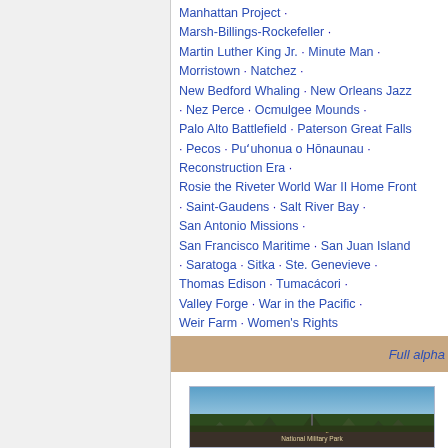Manhattan Project · Marsh-Billings-Rockefeller · Martin Luther King Jr. · Minute Man · Morristown · Natchez · New Bedford Whaling · New Orleans Jazz · Nez Perce · Ocmulgee Mounds · Palo Alto Battlefield · Paterson Great Falls · Pecos · Puʻuhonua o Hōnaunau · Reconstruction Era · Rosie the Riveter World War II Home Front · Saint-Gaudens · Salt River Bay · San Antonio Missions · San Francisco Maritime · San Juan Island · Saratoga · Sitka · Ste. Genevieve · Thomas Edison · Tumacácori · Valley Forge · War in the Pacific · Weir Farm · Women's Rights
Full alpha...
[Figure (photo): Photo of a National Park Service visitor center entrance sign surrounded by trees against a blue sky, with a tall evergreen tree visible. Sign reads: Petersburg National Military Park Visitor Center]